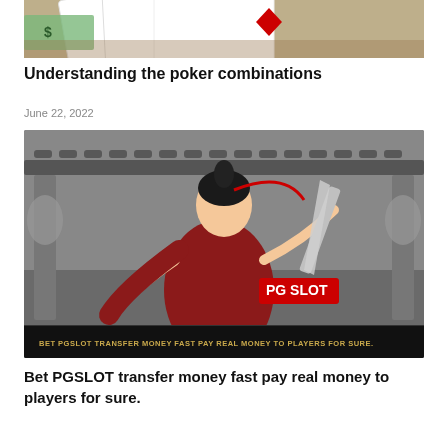[Figure (photo): Partial view of playing cards with dollar bills on a wooden table, showing a red diamond card suit]
Understanding the poker combinations
June 22, 2022
[Figure (photo): PG SLOT advertisement image showing an animated Asian warrior character in red robes in a fighting pose in front of a traditional Asian temple, with text 'BET PGSLOT TRANSFER MONEY FAST PAY REAL MONEY TO PLAYERS FOR SURE.' on a black banner at the bottom]
Bet PGSLOT transfer money fast pay real money to players for sure.